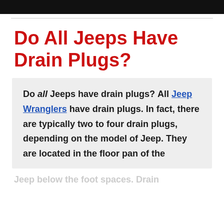Do All Jeeps Have Drain Plugs?
Do all Jeeps have drain plugs? All Jeep Wranglers have drain plugs. In fact, there are typically two to four drain plugs, depending on the model of Jeep. They are located in the floor pan of the
Jeep below the foot spaces. Drain